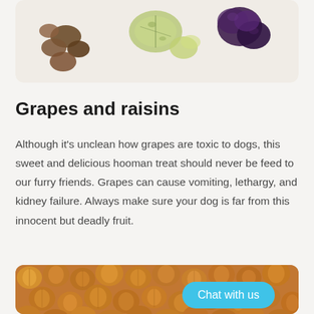[Figure (photo): Photo of grapes and raisins on a white background inside a rounded rectangle card.]
Grapes and raisins
Although it’s unclean how grapes are toxic to dogs, this sweet and delicious hooman treat should never be feed to our furry friends. Grapes can cause vomiting, lethargy, and kidney failure. Always make sure your dog is far from this innocent but deadly fruit.
[Figure (photo): Close-up photo of many hazelnuts filling the frame, inside a rounded rectangle card, with a cyan 'Chat with us' button overlaid in the bottom right.]